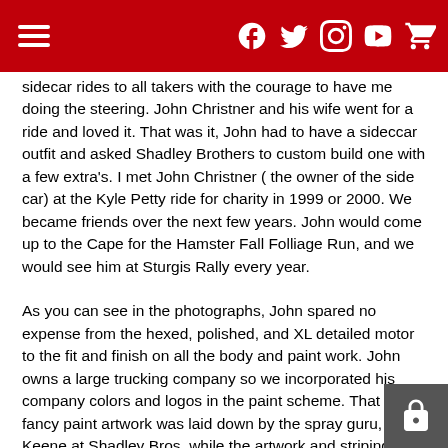[Navigation header with hamburger menu and social icons: Facebook, Twitter, Instagram, YouTube, Cart]
sidecar rides to all takers with the courage to have me doing the steering. John Christner and his wife went for a ride and loved it. That was it, John had to have a sideccar outfit and asked Shadley Brothers to custom build one with a few extra's. I met John Christner ( the owner of the side car) at the Kyle Petty ride for charity in 1999 or 2000. We became friends over the next few years. John would come up to the Cape for the Hamster Fall Folliage Run, and we would see him at Sturgis Rally every year.
As you can see in the photographs, John spared no expense from the hexed, polished, and XL detailed motor to the fit and finish on all the body and paint work. John owns a large trucking company so we incorporated his company colors and logos in the paint scheme. That very fancy paint artwork was laid down by the spray guru, Russ Keene at Shadley Bros, while the artwork and striping was done Gregg Hoger of East Bridgewater Ma.